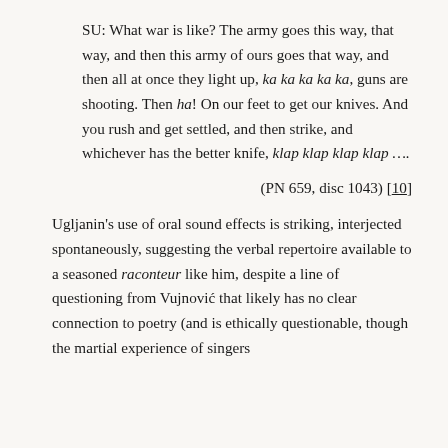SU: What war is like? The army goes this way, that way, and then this army of ours goes that way, and then all at once they light up, ka ka ka ka ka, guns are shooting. Then ha! On our feet to get our knives. And you rush and get settled, and then strike, and whichever has the better knife, klap klap klap klap ….
(PN 659, disc 1043) [10]
Ugljanin's use of oral sound effects is striking, interjected spontaneously, suggesting the verbal repertoire available to a seasoned raconteur like him, despite a line of questioning from Vujnović that likely has no clear connection to poetry (and is ethically questionable, though the martial experience of singers